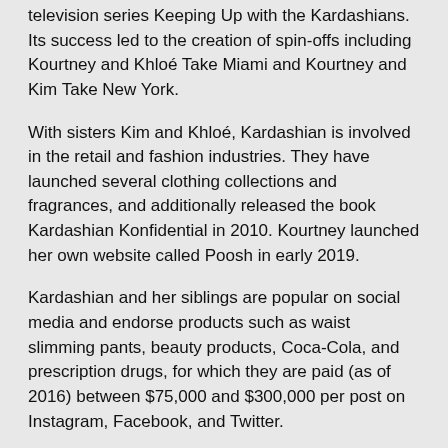television series Keeping Up with the Kardashians. Its success led to the creation of spin-offs including Kourtney and Khloé Take Miami and Kourtney and Kim Take New York.
With sisters Kim and Khloé, Kardashian is involved in the retail and fashion industries. They have launched several clothing collections and fragrances, and additionally released the book Kardashian Konfidential in 2010. Kourtney launched her own website called Poosh in early 2019.
Kardashian and her siblings are popular on social media and endorse products such as waist slimming pants, beauty products, Coca-Cola, and prescription drugs, for which they are paid (as of 2016) between $75,000 and $300,000 per post on Instagram, Facebook, and Twitter.
Early life
Kourtney Mary Kardashian was born in Los Angeles, California, on April 18, 1979, to Robert Kardashian and Kris (née Houghton). She has two younger sisters, Kim and Khloé, and a younger brother, Rob. In 1991, her parents divorced and her mother married Bruce Jenner, a 1976 Summer Olympics decathlon winner (in 2015, Jenner changed her name to Caitlyn[a]), later that year